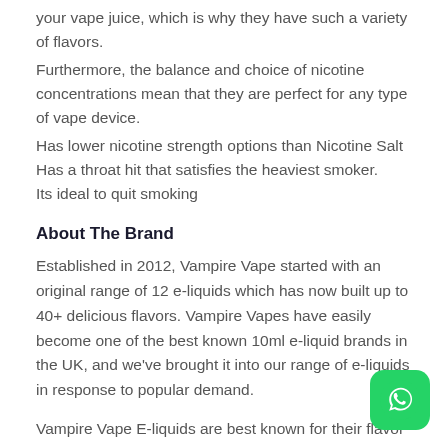your vape juice, which is why they have such a variety of flavors.
Furthermore, the balance and choice of nicotine concentrations mean that they are perfect for any type of vape device.
Has lower nicotine strength options than Nicotine Salt
Has a throat hit that satisfies the heaviest smoker.
Its ideal to quit smoking
About The Brand
Established in 2012, Vampire Vape started with an original range of 12 e-liquids which has now built up to 40+ delicious flavors. Vampire Vapes have easily become one of the best known 10ml e-liquid brands in the UK, and we've brought it into our range of e-liquids in response to popular demand.
Vampire Vape E-liquids are best known for their flavor...